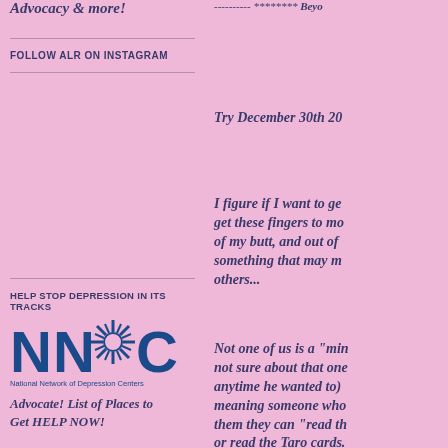Advocacy & more!
Follow ALR on Instagram
Help Stop Depression In its Tracks
[Figure (logo): NNDC - National Network of Depression Centers logo in blue]
Advocate! List of Places to Get HELP NOW!
---------- ******** Beyo
Try December 30th 20
I figure if I want to ge get these fingers to mo of my butt, and out of something that may m others...
Not one of us is a "min not sure about that one anytime he wanted to) meaning someone who them they can "read th or read the Taro cards.